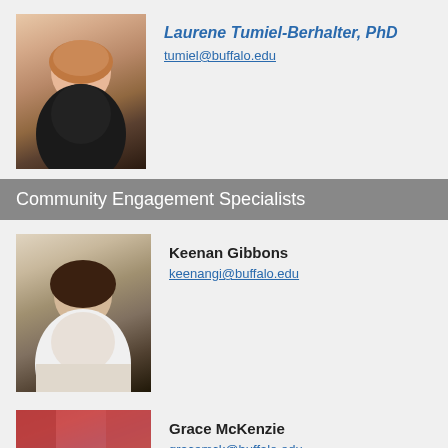[Figure (photo): Headshot of Laurene Tumiel-Berhalter, a woman with red-auburn hair wearing a black top]
Laurene Tumiel-Berhalter, PhD
tumiel@buffalo.edu
Community Engagement Specialists
[Figure (photo): Headshot of Keenan Gibbons, a young woman with dark brown hair and a smile]
Keenan Gibbons
keenangi@buffalo.edu
[Figure (photo): Headshot of Grace McKenzie, a woman with glasses and short brown hair, in front of red foliage, wearing a blue patterned top]
Grace McKenzie
gracemck@buffalo.edu
HELPING PREGNANT WOMEN QUIT SMOKING
[Figure (photo): Partial photo strip at the bottom of the page showing people]